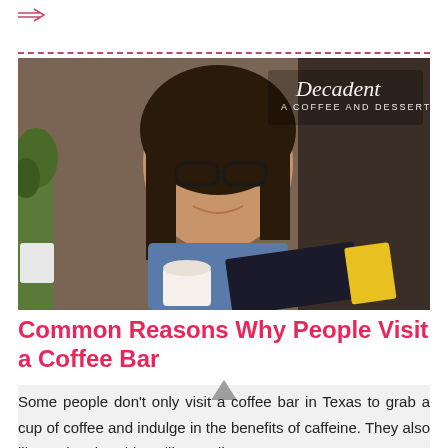→
[Figure (photo): Woman with glasses smiling, reading a book at a coffee shop table with a white coffee cup. A logo reading 'Decadent - A Coffee and Dessert Bar' appears in the upper right corner of the image.]
Common Reasons Why People Visit a Coffee Bar
Some people don't only visit a coffee bar in Texas to grab a cup of coffee and indulge in the benefits of caffeine. They also like to do other things like reading...